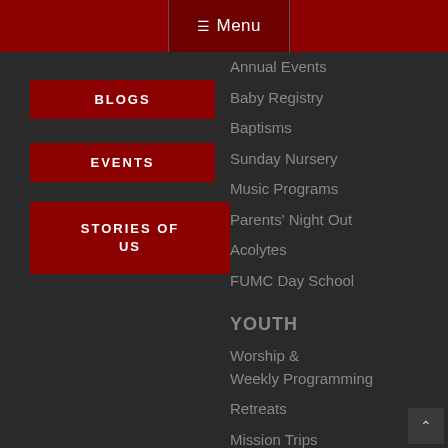Menu
BLOGS
EVENTS
STORIES OF US
Annual Events
Baby Registry
Baptisms
Sunday Nursery
Music Programs
Parents' Night Out
Acolytes
FUMC Day School
YOUTH
Worship & Weekly Programming
Retreats
Mission Trips
Local Service
Events